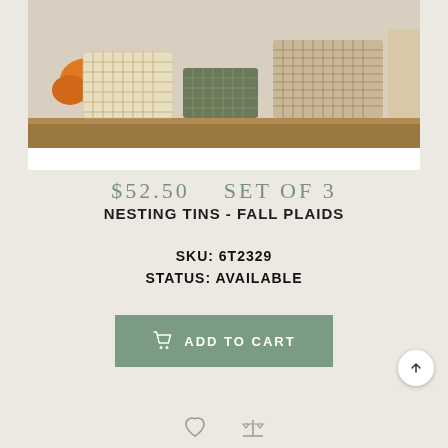[Figure (photo): Three decorative nesting tins with fall plaid patterns sitting on a wooden surface, with oranges/pumpkins visible in the background left.]
$52.50   SET OF 3
NESTING TINS - FALL PLAIDS
SKU: 6T2329
STATUS: AVAILABLE
ADD TO CART